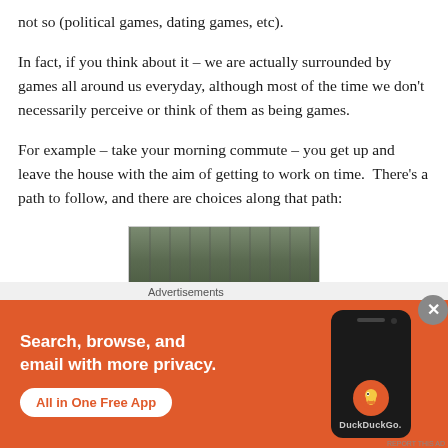not so (political games, dating games, etc).
In fact, if you think about it – we are actually surrounded by games all around us everyday, although most of the time we don't necessarily perceive or think of them as being games.
For example – take your morning commute – you get up and leave the house with the aim of getting to work on time.  There's a path to follow, and there are choices along that path:
[Figure (photo): Aerial view of highway traffic, cars lined up on a road surrounded by greenery]
Advertisements
[Figure (screenshot): DuckDuckGo advertisement banner with orange background. Text reads: Search, browse, and email with more privacy. All in One Free App. Shows a phone with DuckDuckGo logo.]